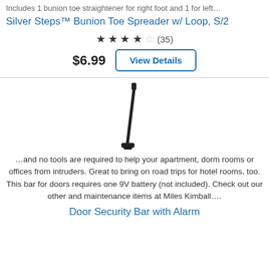Includes 1 bunion toe straightener for right foot and 1 for left…
Silver Steps™ Bunion Toe Spreader w/ Loop, S/2
★★★½☆ (35)
$6.99  View Details
[Figure (photo): Black door security bar, diagonal stick shape with foot piece at bottom]
…and no tools are required to help your apartment, dorm rooms or offices from intruders. Great to bring on road trips for hotel rooms, too. This bar for doors requires one 9V battery (not included). Check out our other and maintenance items at Miles Kimball….
Door Security Bar with Alarm